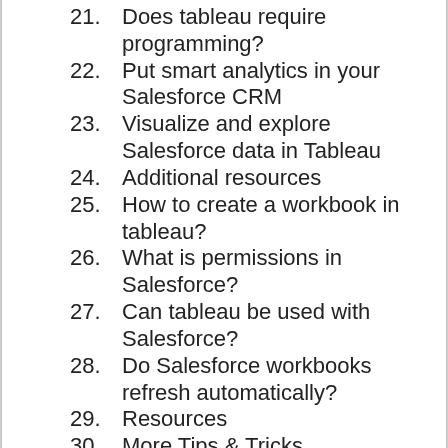21. Does tableau require programming?
22. Put smart analytics in your Salesforce CRM
23. Visualize and explore Salesforce data in Tableau
24. Additional resources
25. How to create a workbook in tableau?
26. What is permissions in Salesforce?
27. Can tableau be used with Salesforce?
28. Do Salesforce workbooks refresh automatically?
29. Resources
30. More Tips & Tricks
31. Set up advanced business analytics for the most powerful CRM in the world
32. Today’s best Salesforce deals
33. How to set up Salesforce with Tableau: